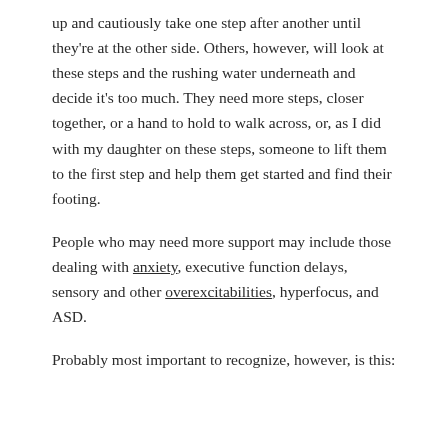up and cautiously take one step after another until they're at the other side. Others, however, will look at these steps and the rushing water underneath and decide it's too much. They need more steps, closer together, or a hand to hold to walk across, or, as I did with my daughter on these steps, someone to lift them to the first step and help them get started and find their footing.
People who may need more support may include those dealing with anxiety, executive function delays, sensory and other overexcitabilities, hyperfocus, and ASD.
Probably most important to recognize, however, is this: